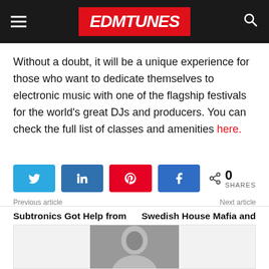EDMTunes
Without a doubt, it will be a unique experience for those who want to dedicate themselves to electronic music with one of the flagship festivals for the world's great DJs and producers. You can check the full list of classes and amenities here.
[Figure (infographic): Social share buttons: Twitter, LinkedIn, Pinterest, Facebook, and a share count showing 0 SHARES]
Previous article
Subtronics Got Help from John Summit for his Kx5 'Escape' Remix
Next article
Swedish House Mafia and IKEA Reveal First Collab Products
[Figure (photo): Partial view of an author profile photo at the bottom of the page]